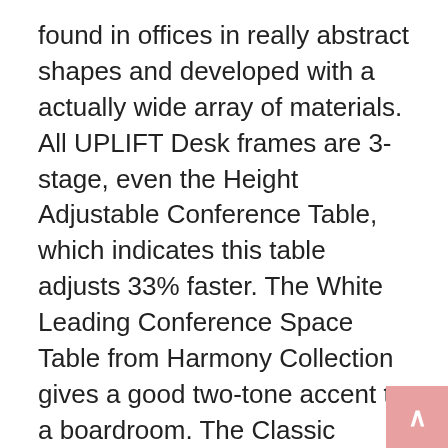found in offices in really abstract shapes and developed with a actually wide array of materials. All UPLIFT Desk frames are 3-stage, even the Height Adjustable Conference Table, which indicates this table adjusts 33% faster. The White Leading Conference Space Table from Harmony Collection gives a good two-tone accent to a boardroom. The Classic Conference Table Series from Jasper gives a solid wood and veneer in-house manufacturing that enables you to get the table you want for your meeting space. Modern: these corner desks with hutch for residence office are offered with clean lines, dark chocolate finishes, and polished metal fixtures. Conference table desk can be moved from one spot to another